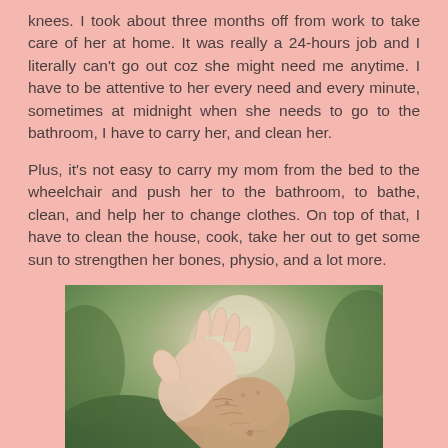knees. I took about three months off from work to take care of her at home. It was really a 24-hours job and I literally can't go out coz she might need me anytime. I have to be attentive to her every need and every minute, sometimes at midnight when she needs to go to the bathroom, I have to carry her, and clean her.
Plus, it's not easy to carry my mom from the bed to the wheelchair and push her to the bathroom, to bathe, clean, and help her to change clothes. On top of that, I have to clean the house, cook, take her out to get some sun to strengthen her bones, physio, and a lot more.
[Figure (photo): Close-up photo of two pairs of hands — a younger person's hand holding an elderly person's wrinkled hand, with a blurred green and beige background.]